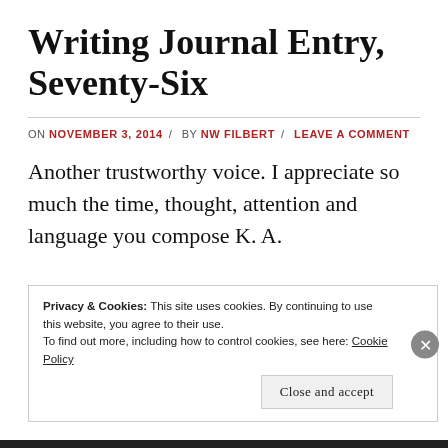Writing Journal Entry, Seventy-Six
ON NOVEMBER 3, 2014 / BY NW FILBERT / LEAVE A COMMENT
Another trustworthy voice. I appreciate so much the time, thought, attention and language you compose K. A.
Privacy & Cookies: This site uses cookies. By continuing to use this website, you agree to their use. To find out more, including how to control cookies, see here: Cookie Policy